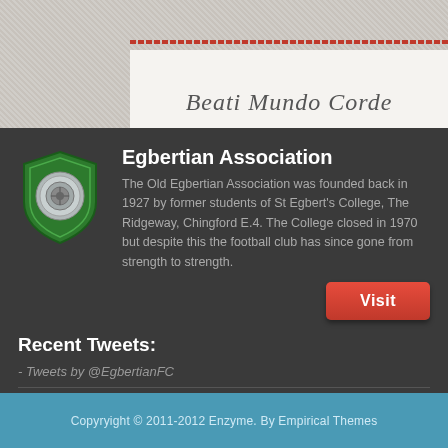Beati Mundo Corde
Egbertian Association
[Figure (logo): Green and grey shield logo with decorative emblem of St Egbert's College / Egbertian Association]
The Old Egbertian Association was founded back in 1927 by former students of St Egbert's College, The Ridgeway, Chingford E.4. The College closed in 1970 but despite this the football club has since gone from strength to strength.
Visit
Recent Tweets:
- Tweets by @EgbertianFC
Stay in Touch
Copyryight © 2011-2012 Enzyme. By Empirical Themes